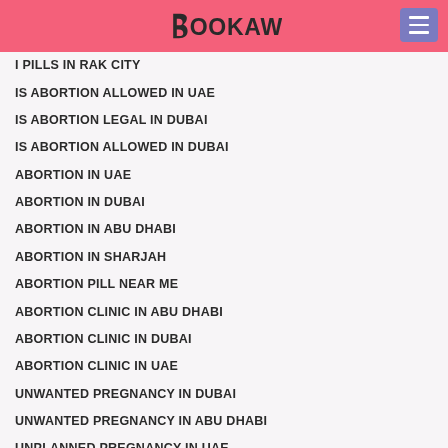BOOKAW
I PILLS IN RAK CITY
IS ABORTION ALLOWED IN UAE
IS ABORTION LEGAL IN DUBAI
IS ABORTION ALLOWED IN DUBAI
ABORTION IN UAE
ABORTION IN DUBAI
ABORTION IN ABU DHABI
ABORTION IN SHARJAH
ABORTION PILL NEAR ME
ABORTION CLINIC IN ABU DHABI
ABORTION CLINIC IN DUBAI
ABORTION CLINIC IN UAE
UNWANTED PREGNANCY IN DUBAI
UNWANTED PREGNANCY IN ABU DHABI
UNPLANNED PREGNANCY IN UAE
UNWANTED PREGNANCY IN KUWAIT